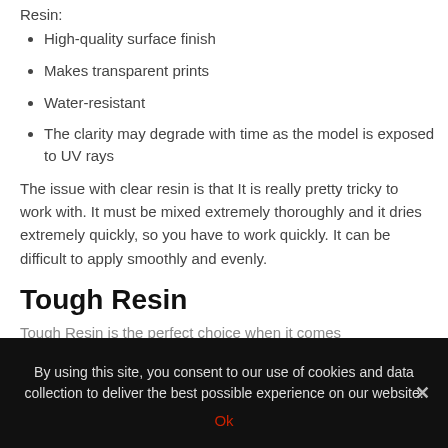Resin:
High-quality surface finish
Makes transparent prints
Water-resistant
The clarity may degrade with time as the model is exposed to UV rays
The issue with clear resin is that It is really pretty tricky to work with. It must be mixed extremely thoroughly and it dries extremely quickly, so you have to work quickly. It can be difficult to apply smoothly and evenly.
Tough Resin
Tough Resin is the perfect choice when it comes
By using this site, you consent to our use of cookies and data collection to deliver the best possible experience on our website.
Ok